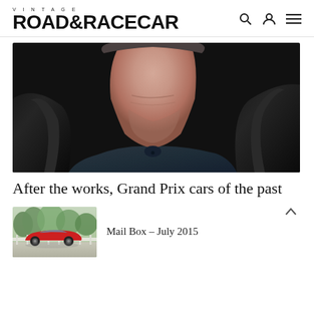VINTAGE ROAD & RACECAR
[Figure (photo): Close-up photo of a man in a dark leather jacket, cropped at the neck and chin, with dark background.]
After the works, Grand Prix cars of the past
[Figure (photo): Thumbnail photo of a red vintage sports car parked outdoors near a white fence with trees in the background.]
Mail Box – July 2015